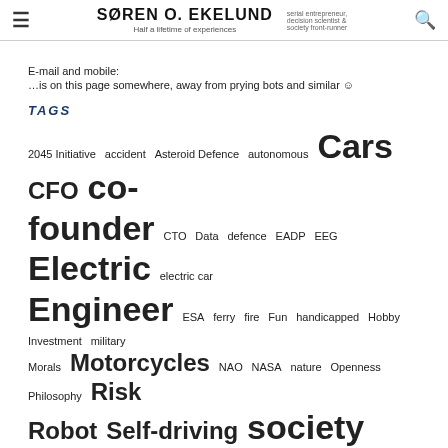SØREN O. EKELUND — Half a lifetime of experiences — serial entrepreneur, decision scientist & society front-runner
E-mail and mobile:
…is on this page somewhere, away from prying bots and similar ☺
TAGS
2045 Initiative accident Asteroid Defence autonomous Cars CFO co-founder CTO Data defence EADP EEG Electric electric car Engineer ESA ferry fire Fun handicapped Hobby Investment military Morals Motorcycles NAO NASA nature Openness Philosophy Risk Robot Self-driving society Sponserships talants Talks technology